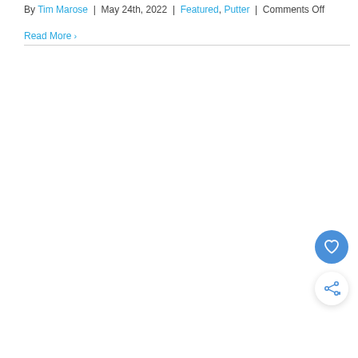By Tim Marose | May 24th, 2022 | Featured, Putter | Comments Off
Read More ›
[Figure (other): Heart (like) icon button — circular blue button with white heart outline icon]
[Figure (other): Share icon button — circular white button with blue share/network icon and plus symbol]